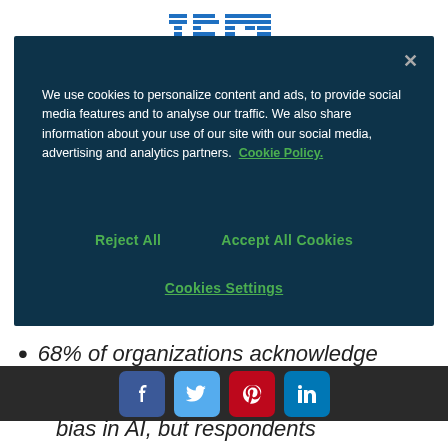[Figure (logo): IBM striped logo in blue]
We use cookies to personalize content and ads, to provide social media features and to analyse our traffic. We also share information about your use of our site with our social media, advertising and analytics partners. Cookie Policy.
Reject All
Accept All Cookies
Cookies Settings
have acted on it
68% of organizations acknowledge
[Figure (other): Social media share buttons: Facebook, Twitter, Pinterest, LinkedIn]
bias in AI, but respondents